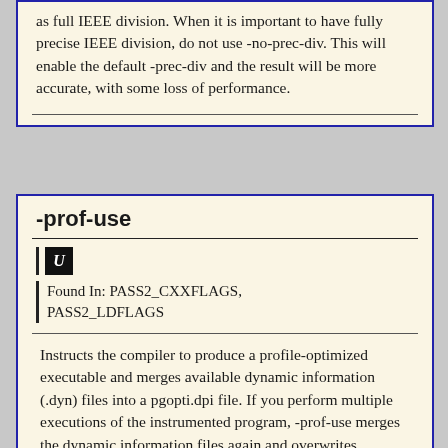as full IEEE division. When it is important to have fully precise IEEE division, do not use -no-prec-div. This will enable the default -prec-div and the result will be more accurate, with some loss of performance.
-prof-use
U
Found In: PASS2_CXXFLAGS, PASS2_LDFLAGS
Instructs the compiler to produce a profile-optimized executable and merges available dynamic information (.dyn) files into a pgopti.dpi file. If you perform multiple executions of the instrumented program, -prof-use merges the dynamic information files again and overwrites